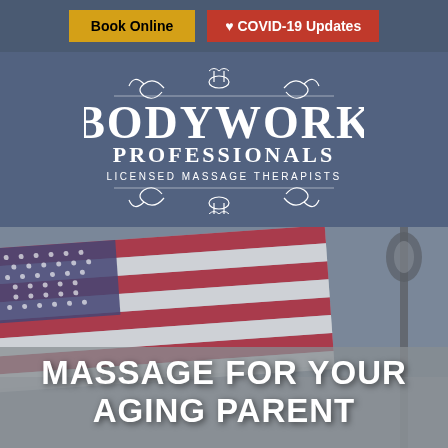Book Online   ♥ COVID-19 Updates
[Figure (logo): Bodywork Professionals Licensed Massage Therapists logo in white on steel-blue background with decorative scrollwork]
[Figure (photo): Blurred American flag waving, with a lamp post visible on the right side, overlaid with a grey semi-transparent band]
MASSAGE FOR YOUR AGING PARENT